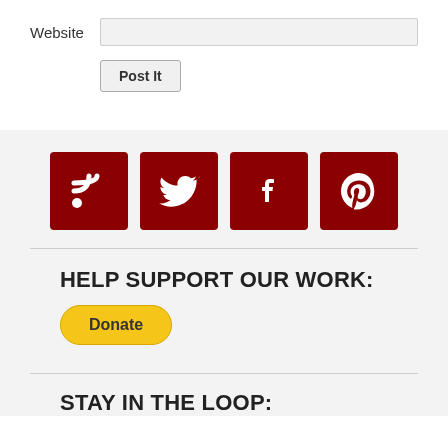Website
Post It
[Figure (illustration): Four dark red square social media icons: RSS feed, Twitter bird, Facebook f, Pinterest P]
HELP SUPPORT OUR WORK:
Donate
STAY IN THE LOOP: